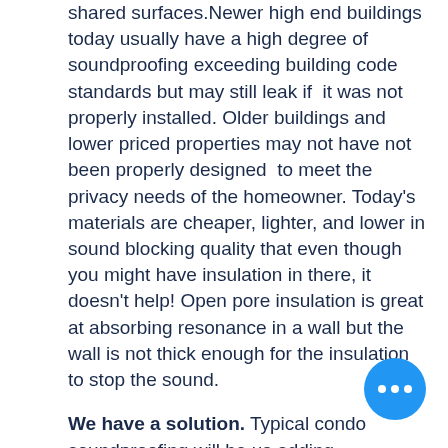shared surfaces.Newer high end buildings today usually have a high degree of soundproofing exceeding building code standards but may still leak if it was not properly installed. Older buildings and lower priced properties may not have not been properly designed to meet the privacy needs of the homeowner. Today's materials are cheaper, lighter, and lower in sound blocking quality that even though you might have insulation in there, it doesn't help! Open pore insulation is great at absorbing resonance in a wall but the wall is not thick enough for the insulation to stop the sound.
We have a solution. Typical condo soundproofing will be us adding soundproofing products to your walls or ceiling, depending on the noise you have. Applying our Barriers, acoustical insulation and isolation clip